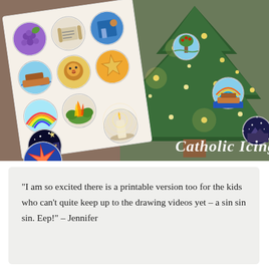[Figure (photo): Photo collage showing a sheet of circular illustrated Bible story stickers/ornaments on the left (depicting scenes like Noah's ark, a lion, a star, a candle, an explosion of light, a dark city, a rainbow, a fire) and a small Christmas tree decorated with circular ornament versions of the same illustrations on the right. The watermark 'Catholic Icing' appears in cursive script at the bottom right.]
“I am so excited there is a printable version too for the kids who can’t quite keep up to the drawing videos yet – a sin sin sin. Eep!” – Jennifer